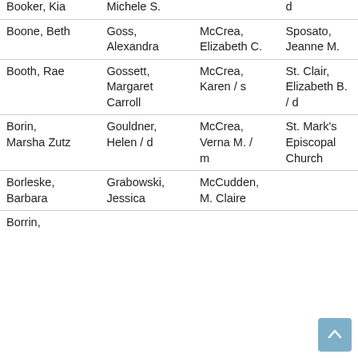| Col1 | Col2 | Col3 | Col4 |
| --- | --- | --- | --- |
| Booker, Kia | Michele S. |  | d |
| Boone, Beth | Goss, Alexandra | McCrea, Elizabeth C. | Sposato, Jeanne M. |
| Booth, Rae | Gossett, Margaret Carroll | McCrea, Karen / s | St. Clair, Elizabeth B. / d |
| Borin, Marsha Zutz | Gouldner, Helen / d | McCrea, Verna M. / m | St. Mark's Episcopal Church |
| Borleske, Barbara | Grabowski, Jessica | McCudden, M. Claire |  |